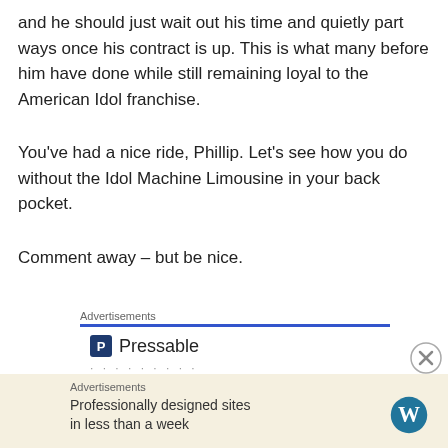and he should just wait out his time and quietly part ways once his contract is up. This is what many before him have done while still remaining loyal to the American Idol franchise.
You've had a nice ride, Phillip. Let's see how you do without the Idol Machine Limousine in your back pocket.
Comment away – but be nice.
[Figure (logo): Pressable advertisement with blue bar, Pressable logo icon and name, dots row, and 'The Platform' heading in dark blue bold text]
[Figure (logo): Bottom advertisement bar with WordPress logo: 'Professionally designed sites in less than a week']